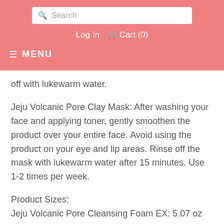Search | Log In | Cart (0) | MENU
off with lukewarm water.
Jeju Volcanic Pore Clay Mask: After washing your face and applying toner, gently smoothen the product over your entire face. Avoid using the product on your eye and lip areas. Rinse off the mask with lukewarm water after 15 minutes. Use 1-2 times per week.
Product Sizes:
Jeju Volcanic Pore Cleansing Foam EX: 5.07 oz (150 ml)